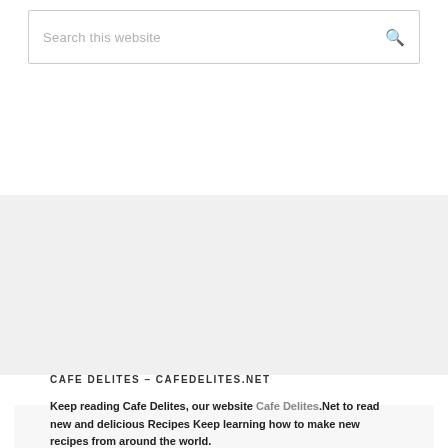Search this website
[Figure (other): Gray background section placeholder area]
CAFE DELITES – CAFEDELITES.NET
Keep reading Cafe Delites, our website Cafe Delites.Net to read new and delicious Recipes Keep learning how to make new recipes from around the world.